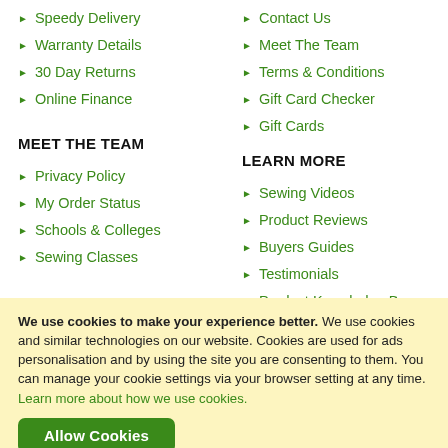Speedy Delivery
Warranty Details
30 Day Returns
Online Finance
Contact Us
Meet The Team
Terms & Conditions
Gift Card Checker
Gift Cards
MEET THE TEAM
LEARN MORE
Privacy Policy
My Order Status
Schools & Colleges
Sewing Classes
Sewing Videos
Product Reviews
Buyers Guides
Testimonials
Product Knowledge Base
We use cookies to make your experience better. We use cookies and similar technologies on our website. Cookies are used for ads personalisation and by using the site you are consenting to them. You can manage your cookie settings via your browser setting at any time. Learn more about how we use cookies.
Allow Cookies